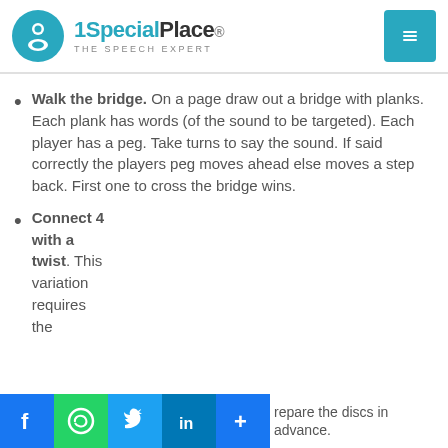1SpecialPlace. THE SPEECH EXPERT
Walk the bridge. On a page draw out a bridge with planks. Each plank has words (of the sound to be targeted). Each player has a peg. Take turns to say the sound. If said correctly the players peg moves ahead else moves a step back. First one to cross the bridge wins.
Connect 4 with a twist. This variation requires the
repare the discs in advance.